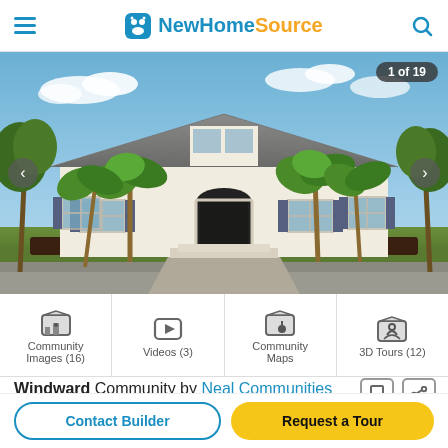NewHomeSource
[Figure (photo): Exterior photo of a large single-story Florida-style home with a hip roof, white stucco exterior, palm trees, and landscaped front yard under blue sky. Navigation arrows on left and right sides. Badge reading '1 of 19' in upper right.]
Community Images (16)
Videos (3)
Community Maps
3D Tours (12)
Windward Community by Neal Communities
Contact Builder
Request a Tour